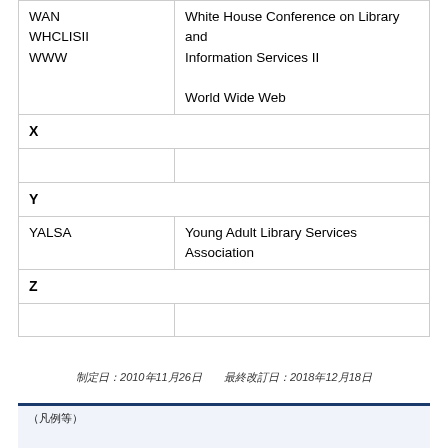| Abbreviation | Full Name |
| --- | --- |
| WAN |  |
| WHCLISII | White House Conference on Library and Information Services II |
| WWW | World Wide Web |
| X |  |
|  |  |
| Y |  |
| YALSA | Young Adult Library Services Association |
| Z |  |
|  |  |
制定日：2010年11月26日　　最終改訂日：2018年12月18日
（凡例等）